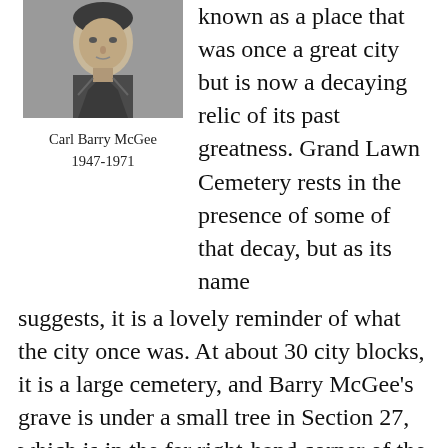[Figure (photo): Black and white portrait photo of Carl Barry McGee, a young man in military-style uniform]
Carl Barry McGee
1947-1971
known as a place that was once a great city but is now a decaying relic of its past greatness. Grand Lawn Cemetery rests in the presence of some of that decay, but as its name suggests, it is a lovely reminder of what the city once was. At about 30 city blocks, it is a large cemetery, and Barry McGee's grave is under a small tree in Section 27, which is in the far right-hand corner of the cemetery. The section is about the size of two football fields end-to-end with no upright grave markers. The flat marker was all by itself with no obvious evidence of other family members being buried nearby. It was covered with